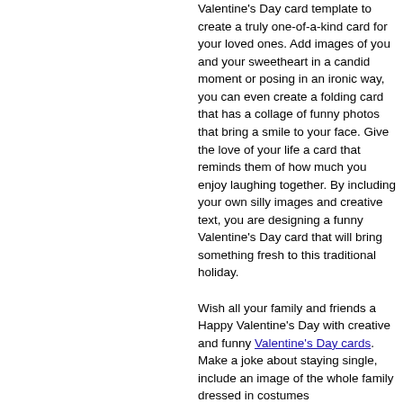Valentine's Day card template to create a truly one-of-a-kind card for your loved ones. Add images of you and your sweetheart in a candid moment or posing in an ironic way, you can even create a folding card that has a collage of funny photos that bring a smile to your face. Give the love of your life a card that reminds them of how much you enjoy laughing together. By including your own silly images and creative text, you are designing a funny Valentine's Day card that will bring something fresh to this traditional holiday.

Wish all your family and friends a Happy Valentine's Day with creative and funny Valentine's Day cards. Make a joke about staying single, include an image of the whole family dressed in costumes